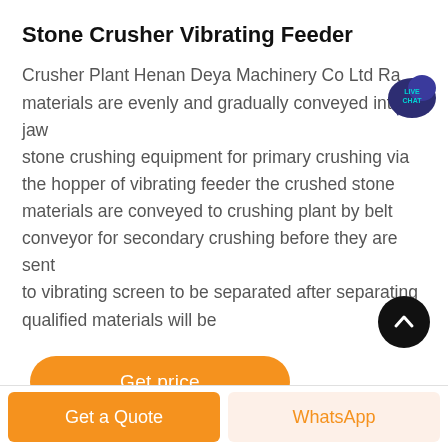Stone Crusher Vibrating Feeder
Crusher Plant Henan Deya Machinery Co Ltd Ra materials are evenly and gradually conveyed into jaw stone crushing equipment for primary crushing via the hopper of vibrating feeder the crushed stone materials are conveyed to crushing plant by belt conveyor for secondary crushing before they are sent to vibrating screen to be separated after separating qualified materials will be
[Figure (other): Live Chat speech bubble badge icon with teal/dark blue color and text LIVE CHAT]
[Figure (other): Orange rounded rectangle button labeled 'Get price']
[Figure (other): Black circular scroll-to-top button with upward chevron arrow]
Get a Quote   WhatsApp